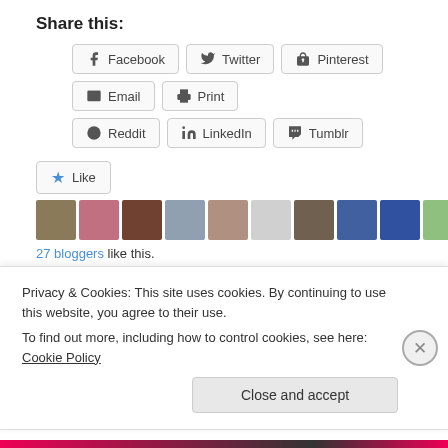Share this:
Facebook | Twitter | Pinterest | Email | Print | Reddit | LinkedIn | Tumblr
[Figure (other): Like button with star icon, followed by 11 blogger avatar images]
27 bloggers like this.
November 23, 2012   10 Replies
Privacy & Cookies: This site uses cookies. By continuing to use this website, you agree to their use. To find out more, including how to control cookies, see here: Cookie Policy
Close and accept